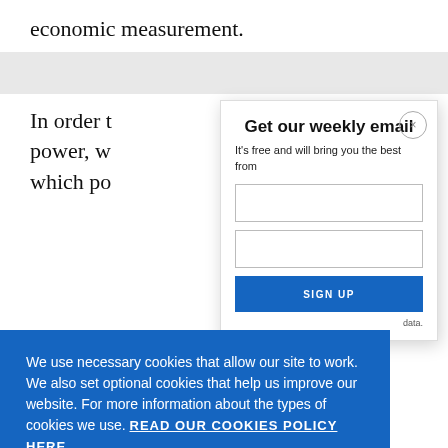economic measurement.
In order t... power, w... which po...
[Figure (screenshot): Email signup modal overlay with title 'Get our weekly email', close button (×), and subtitle 'It’s free and will bring you the best from']
[Figure (screenshot): Cookie consent banner with text: 'We use necessary cookies that allow our site to work. We also set optional cookies that help us improve our website. For more information about the types of cookies we use. READ OUR COOKIES POLICY HERE' and two buttons: 'COOKIE SETTINGS' and 'ALLOW ALL COOKIES']
data.
within ou